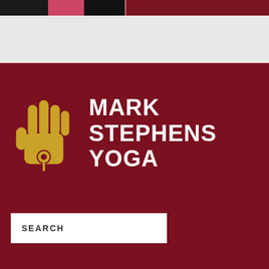[Figure (photo): Top strip showing partial photo of people with dark clothing against a dark/maroon background]
[Figure (logo): Mark Stephens Yoga logo: golden hand (hamsa) icon with circle at base, beside bold white text reading MARK STEPHENS YOGA on dark maroon background]
SEARCH